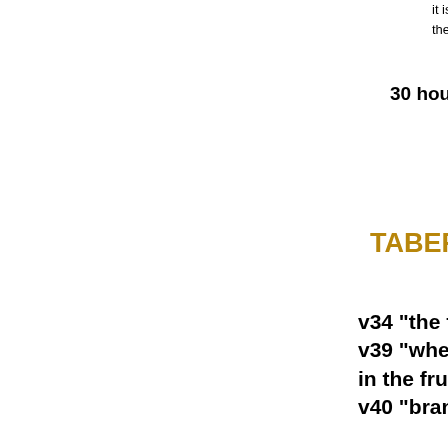it is possible that "Armageddon" will take place across the nation...this fits in perfectly with the fi...
for furth
30 hour-years finish, s...
50th year f...
TABER...
v34 "the feast of tabernacles"
v39 "when you have gathered...
in the fruit of the land"
v40 "branches of palm trees"...
the scene at...
"of all n...
Zechariah 14v16 - "everyone...
that is left of all the nations...
..shall even go up.. to worship...
the King, the LORD of hosts...
and to keep the feast of taber...
The Feast of Tabernacles, with...
to perfection at the e...
...light... by... 2...